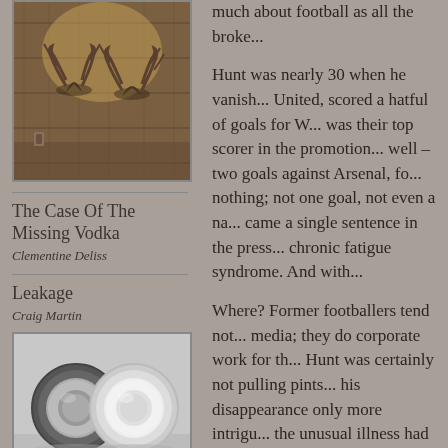[Figure (photo): Deer antler mounts on a wooden plank wall with warm lighting]
The Case Of The Missing Vodka
Clementine Deliss
Leakage
Craig Martin
[Figure (photo): Black and white photo of two circular metal jar lids on a light surface]
much about football as all the broke...

Hunt was nearly 30 when he vanish... United, scored a hatful of goals for W... was their top scorer in the promotion... well – two goals against Arsenal, fo... nothing; not one goal, not even a na... came a single sentence in the press... chronic fatigue syndrome. And with...

Where? Former footballers tend not... media; they do corporate work for th... Hunt was certainly not pulling pints... his disappearance only more intrigu... the unusual illness had become the...

The first phone call was to his forme... Charlton. At West Bromwich, staff h... America and an inquiry at the door o... actually Central America and not ho... Kettering Town, who said that they k...